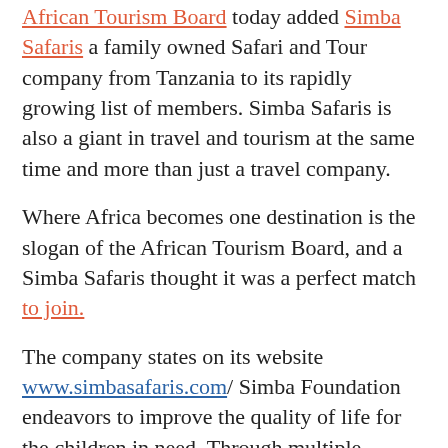African Tourism Board today added Simba Safaris a family owned Safari and Tour company from Tanzania to its rapidly growing list of members. Simba Safaris is also a giant in travel and tourism at the same time and more than just a travel company.
Where Africa becomes one destination is the slogan of the African Tourism Board, and a Simba Safaris thought it was a perfect match to join.
The company states on its website www.simbasafaris.com/ Simba Foundation endeavors to improve the quality of life for the children in need. Through multiple services and projects, focusing particularly on children in extreme poverty, we are striving to reduce the illness, child mortality, provide educational opportunities and support community development.
We believe that the happiest people are not those getting more, but those giving more; there is no higher religion that